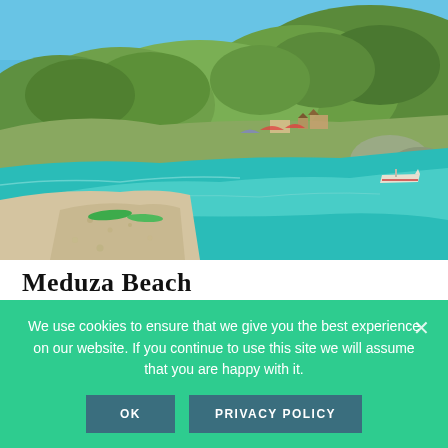[Figure (photo): Scenic coastal beach cove with clear turquoise water, a pebbly shoreline, green forested hillside, small buildings, kayaks, and a motorboat moored offshore under a clear blue sky.]
Meduza Beach
We use cookies to ensure that we give you the best experience on our website. If you continue to use this site we will assume that you are happy with it.
OK   PRIVACY POLICY